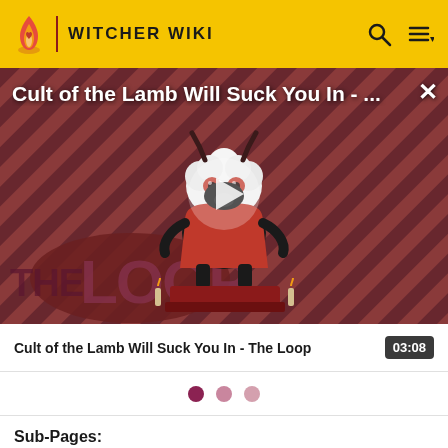WITCHER WIKI
[Figure (screenshot): Video thumbnail for 'Cult of the Lamb Will Suck You In - The Loop' showing a cartoon lamb character with red eyes on a striped background with THE LOOP branding. Play button overlay visible.]
Cult of the Lamb Will Suck You In - The Loop	03:08
Sub-Pages:
Main